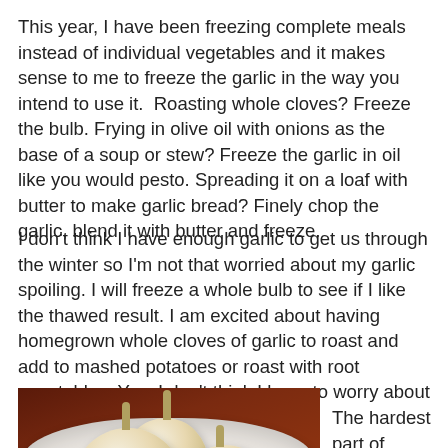This year, I have been freezing complete meals instead of individual vegetables and it makes sense to me to freeze the garlic in the way you intend to use it.  Roasting whole cloves? Freeze the bulb. Frying in olive oil with onions as the base of a soup or stew? Freeze the garlic in oil like you would pesto. Spreading it on a loaf with butter to make garlic bread? Finely chop the garlic, blend it with butter and freeze.
I don't think I have enough garlic to get us through the winter so I'm not that worried about my garlic spoiling. I will freeze a whole bulb to see if I like the thawed result. I am excited about having homegrown whole cloves of garlic to roast and add to mashed potatoes or roast with root vegetables. Yes, I don't think I have to worry about my supply going bad.
[Figure (photo): Photo of three garlic bulbs in a white ceramic bowl on a dark wooden surface]
The hardest part of storing my garlic was selecting the best bulbs to.